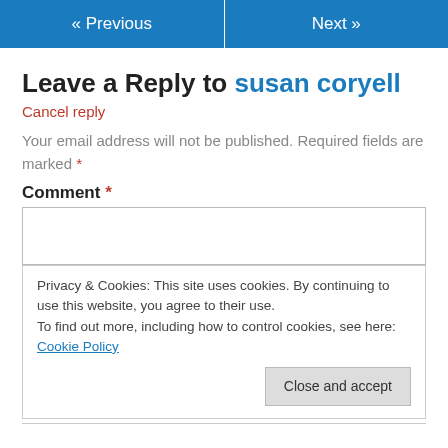« Previous   Next »
Leave a Reply to susan coryell
Cancel reply
Your email address will not be published. Required fields are marked *
Comment *
Privacy & Cookies: This site uses cookies. By continuing to use this website, you agree to their use. To find out more, including how to control cookies, see here: Cookie Policy
Close and accept